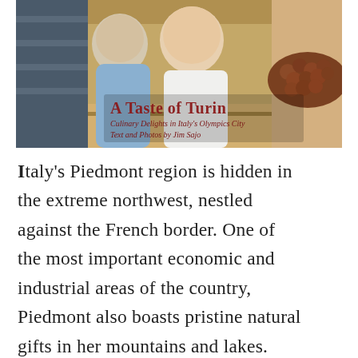[Figure (photo): A woman and boy smiling in a bakery/food shop. Overlaid title text reads 'A Taste of Turin', subtitle 'Culinary Delights in Italy's Olympics City', credit 'Text and Photos by Jim Sajo'.]
Italy's Piedmont region is hidden in the extreme northwest, nestled against the French border. One of the most important economic and industrial areas of the country, Piedmont also boasts pristine natural gifts in her mountains and lakes. Perhaps mercifully, this fascinating and beautiful corner of Italy has been bypassed by the armies of